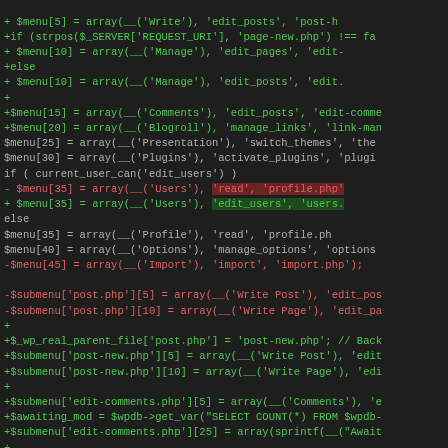[Figure (screenshot): Diff view of PHP code showing menu and submenu array assignments in a WordPress admin file. Green lines are additions, red lines are removals, with highlighted segments showing specific changed values.]